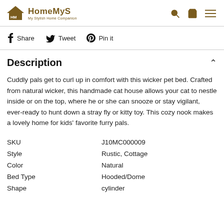HomeMyS — My Stylish Home Companion
f Share   Tweet   Pin it
Description
Cuddly pals get to curl up in comfort with this wicker pet bed. Crafted from natural wicker, this handmade cat house allows your cat to nestle inside or on the top, where he or she can snooze or stay vigilant, ever-ready to hunt down a stray fly or kitty toy. This cozy nook makes a lovely home for kids' favorite furry pals.
| SKU | J10MC000009 |
| Style | Rustic, Cottage |
| Color | Natural |
| Bed Type | Hooded/Dome |
| Shape | cylinder |